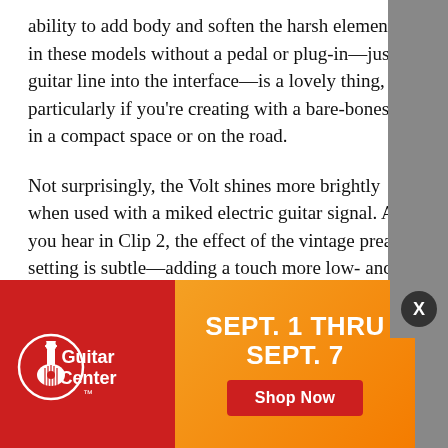ability to add body and soften the harsh elements in these models without a pedal or plug-in—just a guitar line into the interface—is a lovely thing, particularly if you're creating with a bare-bones rig in a compact space or on the road.
Not surprisingly, the Volt shines more brightly when used with a miked electric guitar signal. As you hear in Clip 2, the effect of the vintage preamp setting is subtle—adding a touch more low- and low-mid resonance and a toasty glow compared to the segment using the Volt's standard onboard preamp. But, here again, it's the vintage preamp and 76 together that really shine. The Volt's preamp and compressor may lack the flexibility, fidelity, and sculpting power of the UAD plug-ins and the original ... together ... old-school ... expensive solutions. And the inspiration and confidence
[Figure (other): Guitar Center advertisement banner: red left panel with Guitar Center logo (guitar icon + text), orange gradient right panel with 'SEPT. 1 THRU SEPT. 7' in bold white text and a red 'Shop Now' button. Grey close button with X in top right corner.]